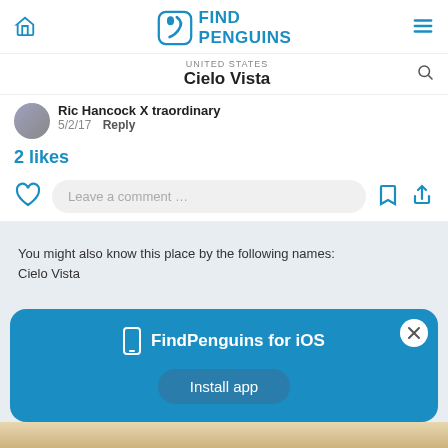FindPenguins
UNITED STATES
Cielo Vista
Ric Hancock X traordinary
5/2/17   Reply
2 likes
Leave a comment …
You might also know this place by the following names:
Cielo Vista
FindPenguins for iOS
Install app